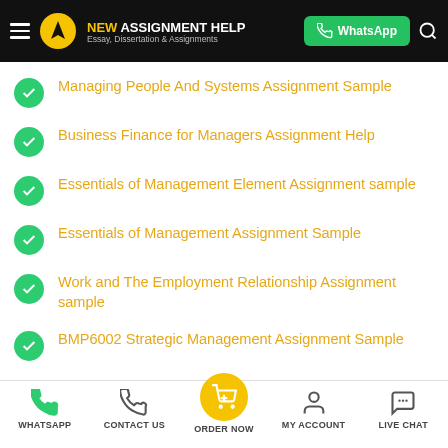[Figure (screenshot): New Assignment Help website header with logo, WhatsApp button, and search icon on black background]
Managing People And Systems Assignment Sample
Business Finance for Managers Assignment Help
Essentials of Management Element Assignment sample
Essentials of Management Assignment Sample
Work and The Employment Relationship Assignment sample
BMP6002 Strategic Management Assignment Sample
[Figure (screenshot): Mobile bottom navigation bar with WhatsApp, Contact Us, Order Now (highlighted), My Account, and Live Chat icons]